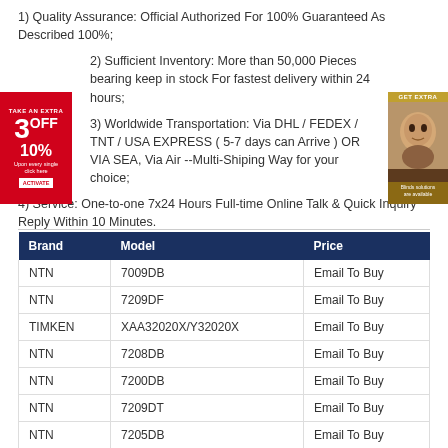1) Quality Assurance: Official Authorized For 100% Guaranteed As Described 100%;
2) Sufficient Inventory: More than 50,000 Pieces bearing keep in stock For fastest delivery within 24 hours;
3) Worldwide Transportation: Via DHL / FEDEX / TNT / USA EXPRESS ( 5-7 days can Arrive ) OR VIA SEA, Via Air --Multi-Shiping Way for your choice;
4) Service: One-to-one 7x24 Hours Full-time Online Talk & Quick Inquiry Reply Within 10 Minutes.
| Brand | Model | Price |
| --- | --- | --- |
| NTN | 7009DB | Email To Buy |
| NTN | 7209DF | Email To Buy |
| TIMKEN | XAA32020X/Y32020X | Email To Buy |
| NTN | 7208DB | Email To Buy |
| NTN | 7200DB | Email To Buy |
| NTN | 7209DT | Email To Buy |
| NTN | 7205DB | Email To Buy |